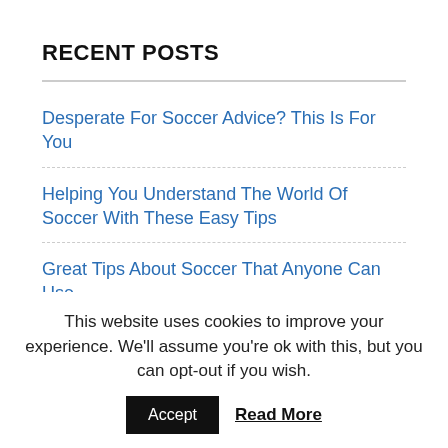RECENT POSTS
Desperate For Soccer Advice? This Is For You
Helping You Understand The World Of Soccer With These Easy Tips
Great Tips About Soccer That Anyone Can Use
Become A Soccer Expert With This Advice
Great Tips To Help You Become A Better Soccer Player
This website uses cookies to improve your experience. We'll assume you're ok with this, but you can opt-out if you wish.
Accept  Read More